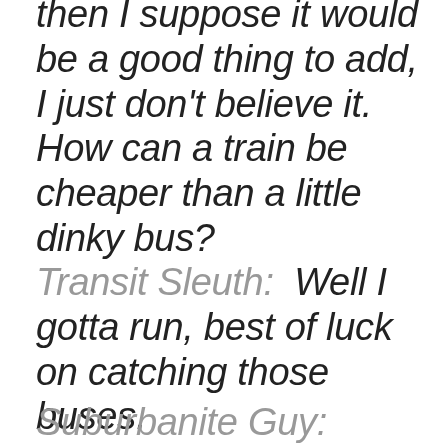then I suppose it would be a good thing to add, I just don't believe it.  How can a train be cheaper than a little dinky bus?
Transit Sleuth:  Well I gotta run, best of luck on catching those buses.
Suburbanite Guy:  Yeah, sure